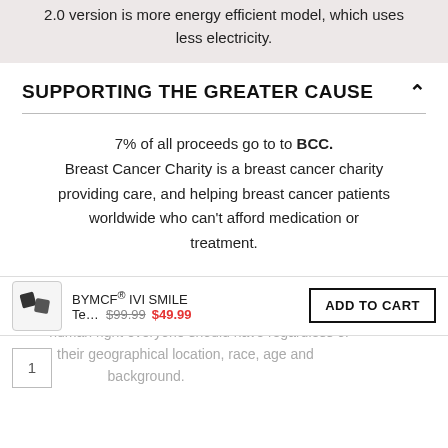2.0 version is more energy efficient model, which uses less electricity.
SUPPORTING THE GREATER CAUSE
7% of all proceeds go to to BCC. Breast Cancer Charity is a breast cancer charity providing care, and helping breast cancer patients worldwide who can't afford medication or treatment.
We do not regard medicine and the ability to see medical professional as a privilege but a basic human right everyone should have regardless of their geographical location, race, age and background.
BYMCF® IVI SMILE Te...  $99.99  $49.99  ADD TO CART